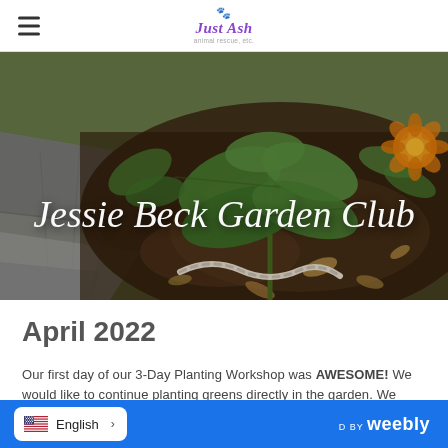Just Ash — navigation bar with hamburger menu and logo
[Figure (photo): Overhead photo of a garden bed with green leafy plants, soil, stone pavers, and an orange marigold flower. Text overlay reads 'Jessie Beck Garden Club' in white italic script.]
April 2022
Our first day of our 3-Day Planting Workshop was AWESOME! We would like to continue planting greens directly in the garden. We would also like to add color to the garden with
English | POWERED BY weebly